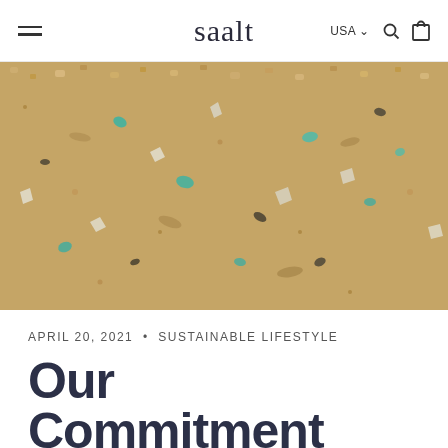saalt — USA — navigation menu
[Figure (photo): Close-up photograph of sandy beach with colorful microplastic debris mixed in — teal, white, and dark fragments visible among golden sand grains]
APRIL 20, 2021 • SUSTAINABLE LIFESTYLE
Our Commitment